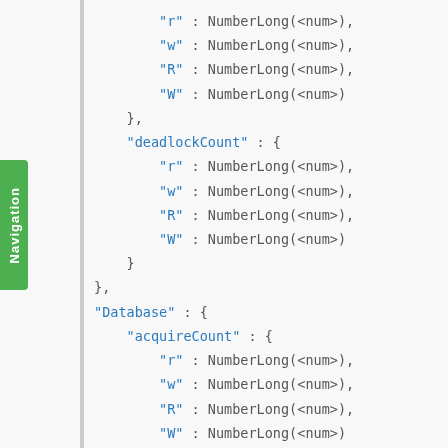"r" : NumberLong(<num>),
"w" : NumberLong(<num>),
"R" : NumberLong(<num>),
"W" : NumberLong(<num>)
},
"deadlockCount" : {
"r" : NumberLong(<num>),
"w" : NumberLong(<num>),
"R" : NumberLong(<num>),
"W" : NumberLong(<num>)
}
},
"Database" : {
"acquireCount" : {
"r" : NumberLong(<num>),
"w" : NumberLong(<num>),
"R" : NumberLong(<num>),
"W" : NumberLong(<num>)
},